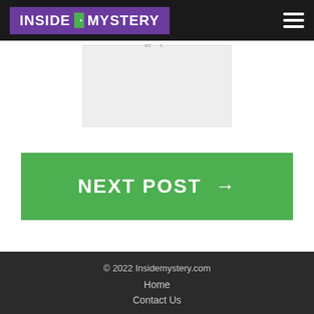INSIDE MYSTERY
[Figure (other): Gray placeholder advertisement box]
NEXT POST →
© 2022 Insidemystery.com
Home
Contact Us